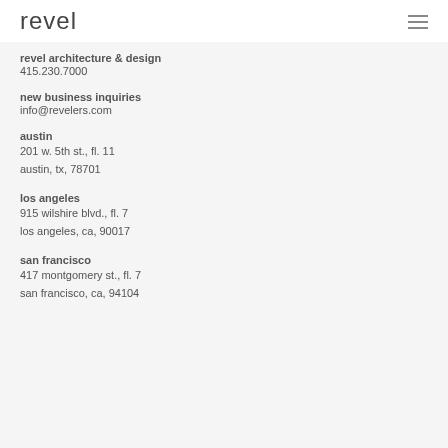revel
revel architecture & design
415.230.7000
new business inquiries
info@revelers.com
austin
201 w. 5th st., fl. 11
austin, tx, 78701
los angeles
915 wilshire blvd., fl. 7
los angeles, ca, 90017
san francisco
417 montgomery st., fl. 7
san francisco, ca, 94104